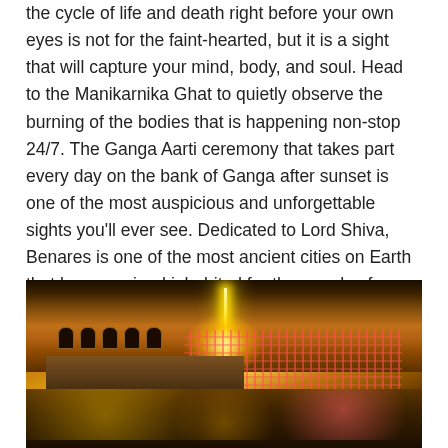the cycle of life and death right before your own eyes is not for the faint-hearted, but it is a sight that will capture your mind, body, and soul. Head to the Manikarnika Ghat to quietly observe the burning of the bodies that is happening non-stop 24/7. The Ganga Aarti ceremony that takes part every day on the bank of Ganga after sunset is one of the most auspicious and unforgettable sights you'll ever see. Dedicated to Lord Shiva, Benares is one of the most ancient cities on Earth that has remained inhabited for thousands of years.
[Figure (photo): Night photograph of a ghat in Varanasi (Benares) showing ancient sandstone buildings illuminated in warm golden light, with decorative string lights and red lights on the right side, crowds of people gathered on the steps, and a bright central light source creating a dramatic glow.]